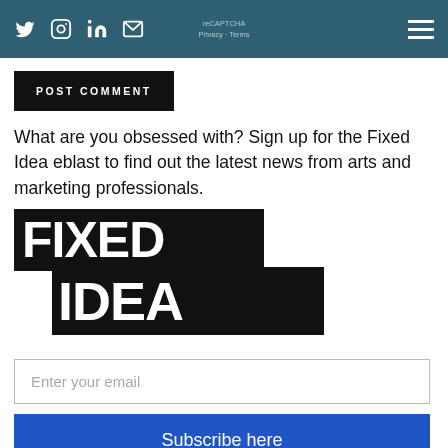Social icons: Twitter, Instagram, LinkedIn, Email | reCAPTCHA Privacy · Terms | Hamburger menu
POST COMMENT
What are you obsessed with? Sign up for the Fixed Idea eblast to find out the latest news from arts and marketing professionals.
[Figure (logo): Fixed Idea logo — two black rectangular blocks with white bold text reading FIXED on top row and IDEA on bottom row, offset to the right]
Enter your email
Subscribe here